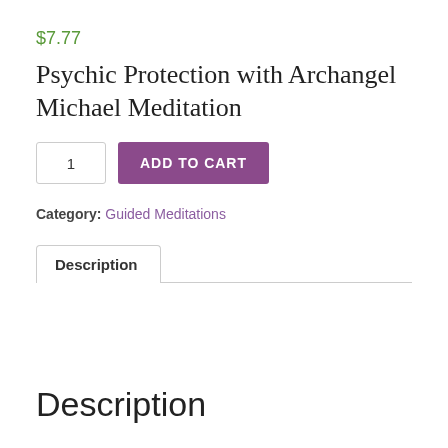$7.77
Psychic Protection with Archangel Michael Meditation
1  ADD TO CART
Category: Guided Meditations
Description
Description